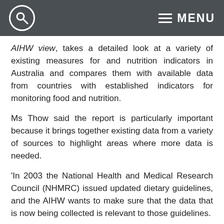MENU
AIHW view, takes a detailed look at a variety of existing measures for and nutrition indicators in Australia and compares them with available data from countries with established indicators for monitoring food and nutrition.
Ms Thow said the report is particularly important because it brings together existing data from a variety of sources to highlight areas where more data is needed.
'In 2003 the National Health and Medical Research Council (NHMRC) issued updated dietary guidelines, and the AIHW wants to make sure that the data that is now being collected is relevant to those guidelines.
'Having relevant nutritional indicators means we can make sure we are collecting and reporting on the data we need in a consistent way and as part of an ongoing monitoring program, in this critical area of public health,' she said.